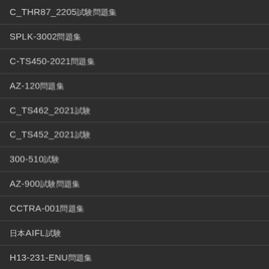C_THR87_2205試験問題集
SPLK-3002問題集
C-TS450-2021問題集
AZ-120問題集
C_TS462_2021試験
C_TS452_2021試験
300-510試験
AZ-900試験問題集
CCTRA-001問題集
日本AIFL試験
H13-231-ENU問題集
C_THR92_2011試験問題集